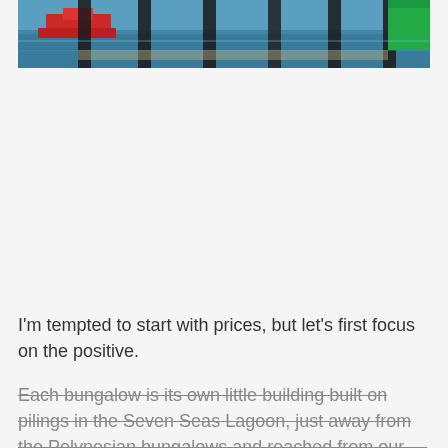[Figure (photo): Photograph of a marina dock scene with dark wooden pilings, a red boat, blue water, and a green navigation marker or sign on the right side.]
I'm tempted to start with prices, but let's first focus on the positive.
Each bungalow is its own little building built on pilings in the Seven Seas Lagoon, just away from the Polynesian bungalows and reached from our—Actually, This